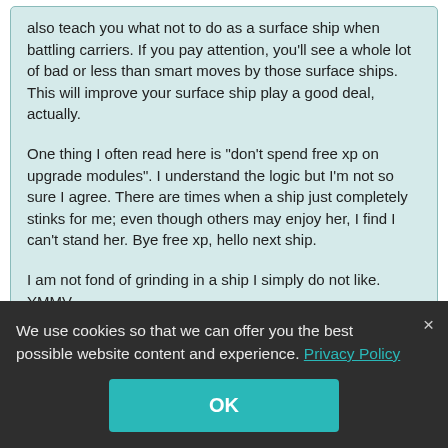also teach you what not to do as a surface ship when battling carriers. If you pay attention, you'll see a whole lot of bad or less than smart moves by those surface ships. This will improve your surface ship play a good deal, actually.
One thing I often read here is "don't spend free xp on upgrade modules". I understand the logic but I'm not so sure I agree. There are times when a ship just completely stinks for me; even though others may enjoy her, I find I can't stand her. Bye free xp, hello next ship.
I am not fond of grinding in a ship I simply do not like. YMMV
I agree with this.  The IJN carriers are work horses that bring home the
We use cookies so that we can offer you the best possible website content and experience. Privacy Policy
OK